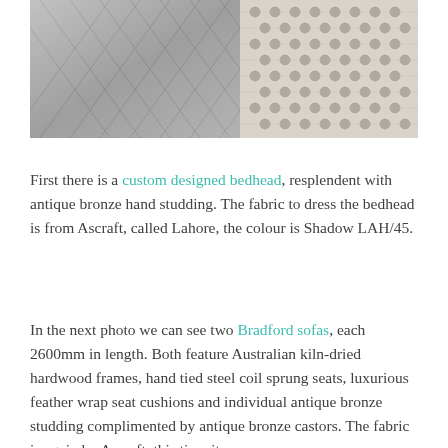[Figure (photo): Close-up photograph of two fabric textures side by side: on the left, a quilted diamond-pattern silvery grey fabric; on the right, a woven open-lace pattern fabric with a floral/botanical motif in grey and white.]
First there is a custom designed bedhead, resplendent with antique bronze hand studding. The fabric to dress the bedhead is from Ascraft, called Lahore, the colour is Shadow LAH/45.
In the next photo we can see two Bradford sofas, each 2600mm in length. Both feature Australian kiln-dried hardwood frames, hand tied steel coil sprung seats, luxurious feather wrap seat cushions and individual antique bronze studding complimented by antique bronze castors. The fabric is again by Ascraft, this time it